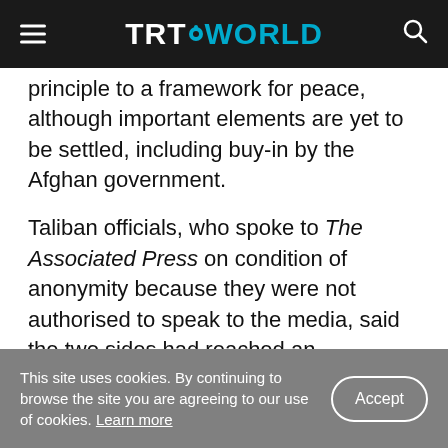TRT WORLD
principle to a framework for peace, although important elements are yet to be settled, including buy-in by the Afghan government.
Taliban officials, who spoke to The Associated Press on condition of anonymity because they were not authorised to speak to the media, said the two sides had reached an understanding about the withdrawal of US and NATO troops and that the militant group had made assurances that Afghan soil would not be used again for attacks against the United States or others.
This site uses cookies. By continuing to browse the site you are agreeing to our use of cookies. Learn more